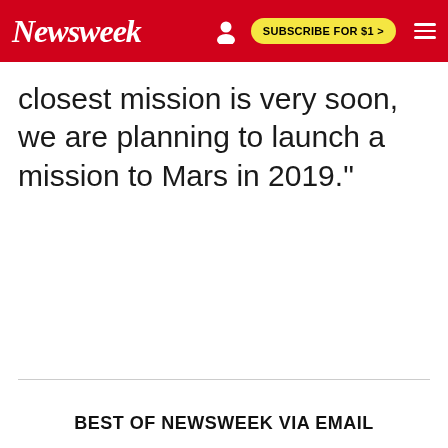Newsweek | SUBSCRIBE FOR $1 >
closest mission is very soon, we are planning to launch a mission to Mars in 2019."
BEST OF NEWSWEEK VIA EMAIL